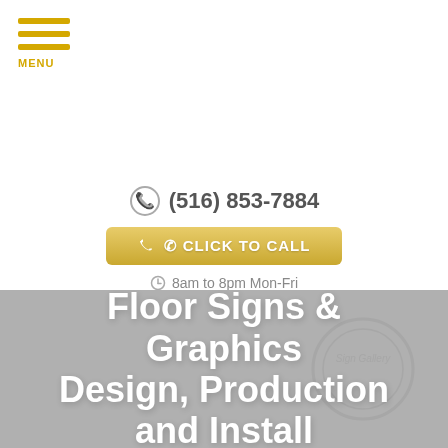[Figure (screenshot): Hamburger menu icon with three gold/yellow horizontal bars and MENU label below]
(516) 853-7884
CLICK TO CALL
8am to 8pm Mon-Fri
Floor Signs & Graphics Design, Production and Install